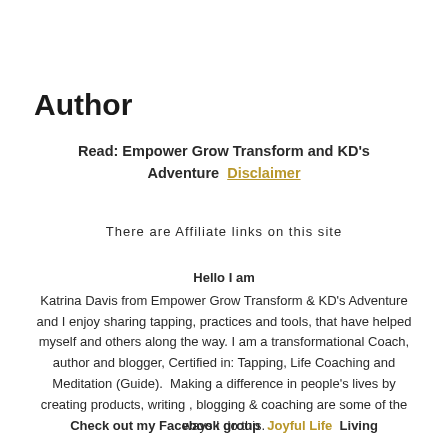Author
Read: Empower Grow Transform and KD's Adventure  Disclaimer
There are Affiliate links on this site
Hello I am
Katrina Davis from Empower Grow Transform & KD's Adventure and I enjoy sharing tapping, practices and tools, that have helped myself and others along the way. I am a transformational Coach, author and blogger, Certified in: Tapping, Life Coaching and Meditation (Guide).  Making a difference in people's lives by creating products, writing , blogging & coaching are some of the ways I do this.
Check out my Facebook group  Joyful Life  Living